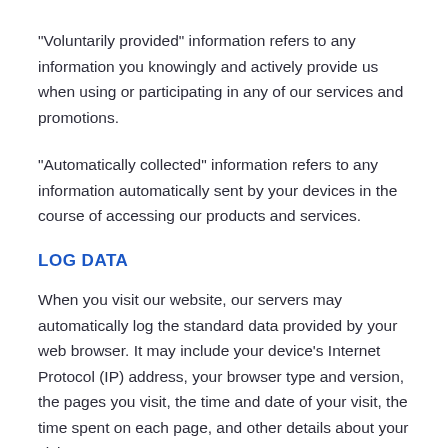"Voluntarily provided" information refers to any information you knowingly and actively provide us when using or participating in any of our services and promotions.
"Automatically collected" information refers to any information automatically sent by your devices in the course of accessing our products and services.
LOG DATA
When you visit our website, our servers may automatically log the standard data provided by your web browser. It may include your device's Internet Protocol (IP) address, your browser type and version, the pages you visit, the time and date of your visit, the time spent on each page, and other details about your visit.
Additionally, if you encounter certain errors while using the site, we may automatically collect data about the error and the